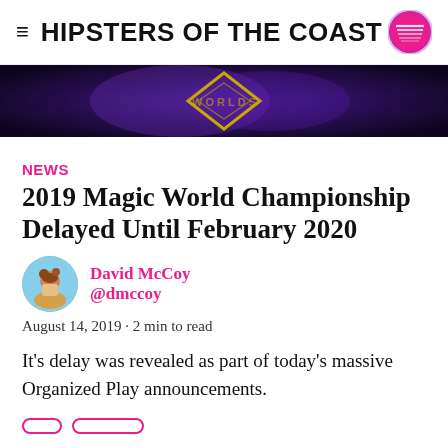HIPSTERS OF THE COAST
[Figure (photo): Dark purple/black banner image with a gold diamond shape outline in the center, resembling a Magic: The Gathering themed header image.]
NEWS
2019 Magic World Championship Delayed Until February 2020
David McCoy @dmccoy
August 14, 2019 · 2 min to read
It's delay was revealed as part of today's massive Organized Play announcements.